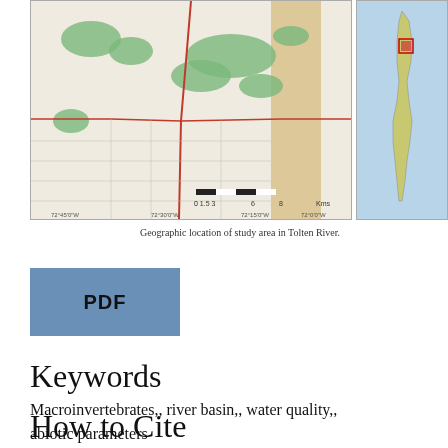[Figure (map): Geographic map showing the study area in Tolten River with a main regional map and a smaller inset map showing the location within Chile/South America.]
Geographic location of study area in Tolten River.
[Figure (other): Blue PDF button/badge]
Keywords
Macroinvertebrates,, river basin,, water quality,, abiotic parameters
How to Cite